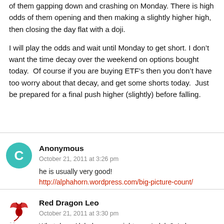of them gapping down and crashing on Monday. There is high odds of them opening and then making a slightly higher high, then closing the day flat with a doji.
I will play the odds and wait until Monday to get short. I don't want the time decay over the weekend on options bought today.  Of course if you are buying ETF's then you don't have too worry about that decay, and get some shorts today.  Just be prepared for a final push higher (slightly) before falling.
Anonymous
October 21, 2011 at 3:26 pm
he is usually very good!
http://alphahorn.wordpress.com/big-picture-count/
Red Dragon Leo
October 21, 2011 at 3:30 pm
What does Alphahorn say right now Lulala?  Is he bearish from a st and lbt ta and or option...